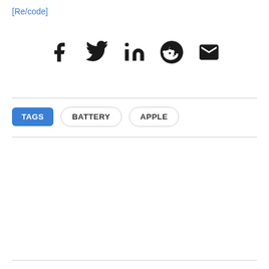[Re/code]
[Figure (other): Social sharing icons row: Facebook, Twitter, LinkedIn, Reddit, Email (envelope)]
TAGS  BATTERY  APPLE